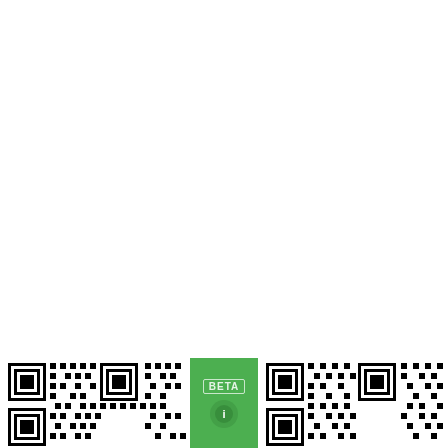[Figure (other): Bottom strip showing two QR codes on the left and right, with a green center panel containing a 'BETA' label badge and partial circular icon below it. The top ~80% of the page is white/blank.]